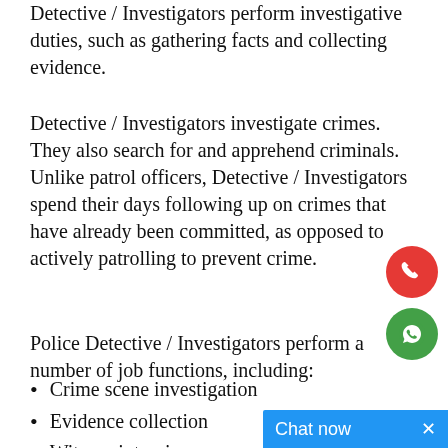Detective / Investigators perform investigative duties, such as gathering facts and collecting evidence.
Detective / Investigators investigate crimes. They also search for and apprehend criminals. Unlike patrol officers, Detective / Investigators spend their days following up on crimes that have already been committed, as opposed to actively patrolling to prevent crime.
Police Detective / Investigators perform a number of job functions, including:
Crime scene investigation
Evidence collection
Witness interviews